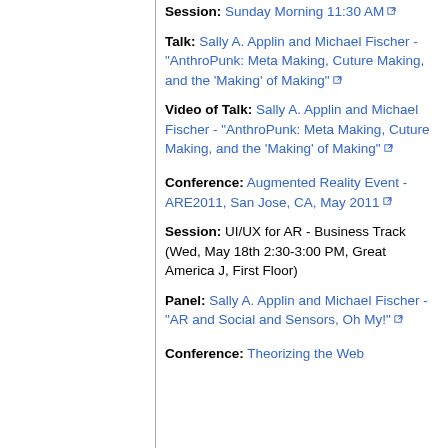Session: Sunday Morning 11:30 AM [ext link]
Talk: Sally A. Applin and Michael Fischer - "AnthroPunk: Meta Making, Cuture Making, and the 'Making' of Making" [ext link]
Video of Talk: Sally A. Applin and Michael Fischer - "AnthroPunk: Meta Making, Cuture Making, and the 'Making' of Making" [ext link]
Conference: Augmented Reality Event - ARE2011, San Jose, CA, May 2011 [ext link]
Session: UI/UX for AR - Business Track (Wed, May 18th 2:30-3:00 PM, Great America J, First Floor)
Panel: Sally A. Applin and Michael Fischer - "AR and Social and Sensors, Oh My!" [ext link]
Conference: Theorizing the Web...